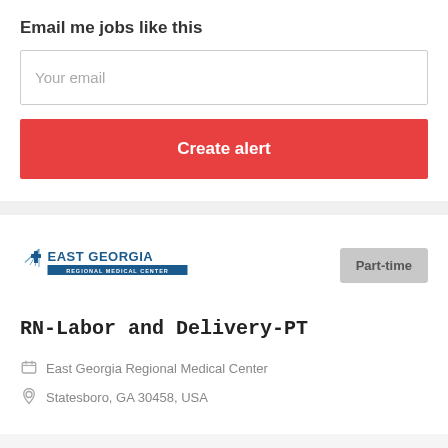Email me jobs like this
Your email
Create alert
[Figure (logo): East Georgia Regional Medical Center logo — blue text with a cross symbol]
Part-time
RN-Labor and Delivery-PT
East Georgia Regional Medical Center
Statesboro, GA 30458, USA